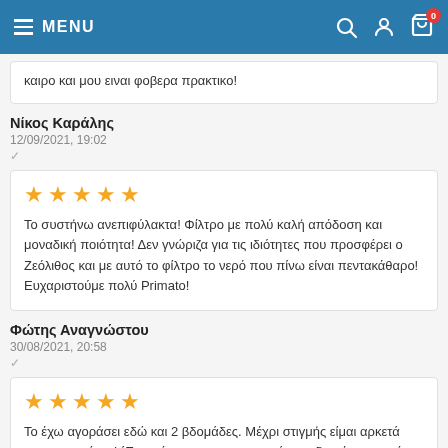MENU
καιρο και μου ειναι φοβερα πρακτικο!
Νίκος Καράλης
12/09/2021, 19:02
Το συστήνω ανεπιφύλακτα! Φίλτρο με πολύ καλή απόδοση και μοναδική ποιότητα! Δεν γνώριζα για τις ιδιότητες που προσφέρει ο Ζεόλιθος και με αυτό το φίλτρο το νερό που πίνω είναι πεντακάθαρο! Ευχαριστούμε πολύ Primato!
Φώτης Αναγνώστου
30/08/2021, 20:58
Το έχω αγοράσει εδώ και 2 βδομάδες. Μέχρι στιγμής είμαι αρκετά ικανοποιημένος! Έχει κάποια χαρακτηριστικά που διαφέρουν από άλλα φίλτρα βρύσης γι' αυτό και το προτίμησα! Βακτηριοστατικό υλικό στο πλαστικό του και φίλτρο υψηλής ποιότητας με παρόμοια ποιότητα φίλτρων για συσκευές μεγαλύτερης χωρητικότητας